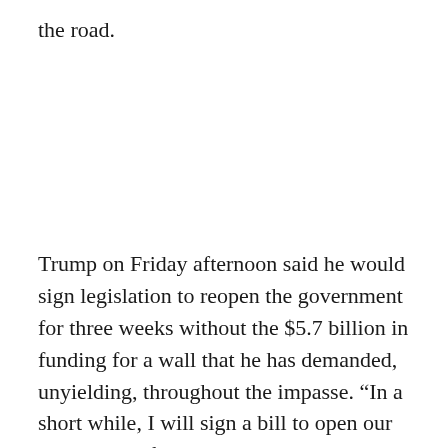the road.
Trump on Friday afternoon said he would sign legislation to reopen the government for three weeks without the $5.7 billion in funding for a wall that he has demanded, unyielding, throughout the impasse. “In a short while, I will sign a bill to open our government for three weeks until February 15.” Trump said he is going to the White